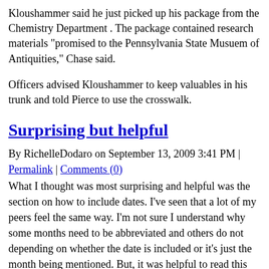Kloushammer said he just picked up his package from the Chemistry Department . The package contained research materials "promised to the Pennsylvania State Musuem of Antiquities," Chase said.
Officers advised Kloushammer to keep valuables in his trunk and told Pierce to use the crosswalk.
Surprising but helpful
By RichelleDodaro on September 13, 2009 3:41 PM | Permalink | Comments (0)
What I thought was most surprising and helpful was the section on how to include dates. I've seen that a lot of my peers feel the same way. I'm not sure I understand why some months need to be abbreviated and others do not depending on whether the date is included or it's just the month being mentioned. But, it was helpful to read this because this information will be useful for my future news writing. I also never knew that you should not include "Dr." when referring to a professor. That seems like that would be a part of their title, and something that should be included since it shows they have gone through a lot of schooling and hard work. Basically, it is something to be proud of so that was surprising to hear/read. I used to be confused as to whether you should use